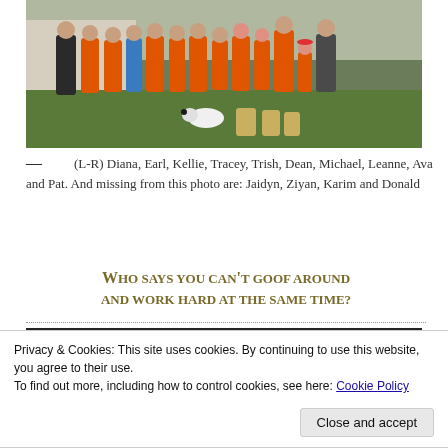[Figure (photo): Group photo of volunteers in orange shirts standing outside a house on a lawn]
— (L-R) Diana, Earl, Kellie, Tracey, Trish, Dean, Michael, Leanne, Ava and Pat. And missing from this photo are: Jaidyn, Ziyan, Karim and Donald
Who says you can't goof around and work hard at the same time?
Privacy & Cookies: This site uses cookies. By continuing to use this website, you agree to their use. To find out more, including how to control cookies, see here: Cookie Policy
[Figure (photo): Partial view of another group photo at the bottom of the page, cut off]